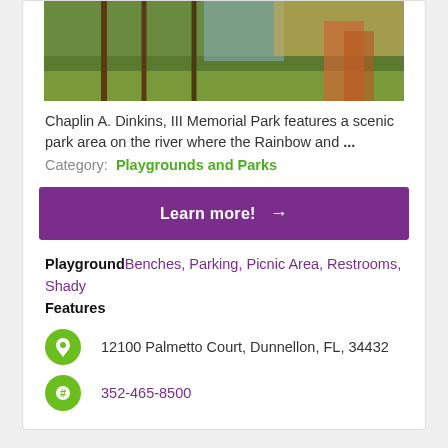[Figure (photo): Park photo showing trees, grass and water area - Chaplin A. Dinkins III Memorial Park]
Chaplin A. Dinkins, III Memorial Park features a scenic park area on the river where the Rainbow and ...
Category: Playgrounds and Parks
Learn more! →
Playground Features: Benches, Parking, Picnic Area, Restrooms, Shady
12100 Palmetto Court, Dunnellon, FL, 34432
352-465-8500
Chazal Park
[Figure (photo): Park photo showing trees with Spanish moss near water - Chazal Park]